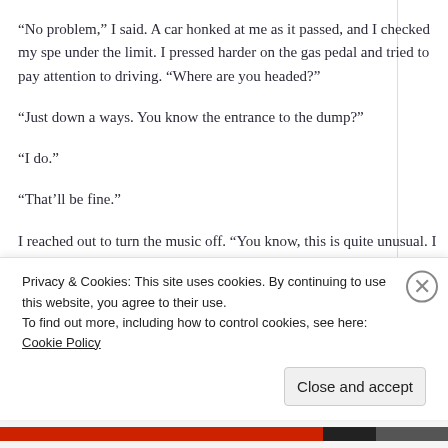“No problem,” I said. A car honked at me as it passed, and I checked my spe under the limit. I pressed harder on the gas pedal and tried to pay attention to driving. “Where are you headed?”
“Just down a ways. You know the entrance to the dump?”
“I do.”
“That’ll be fine.”
I reached out to turn the music off. “You know, this is quite unusual. I can’t s ever met a talking fox before. Or given one a ride.”
“Yeah, well. What can you do?”
He didn’t seem inclined to say more, and we traveled for a few minutes in si for the sound of his frequent scratching.
I turned in to the dump road. “You can just let me out here,” the fox said.
Privacy & Cookies: This site uses cookies. By continuing to use this website, you agree to their use. To find out more, including how to control cookies, see here: Cookie Policy
Close and accept